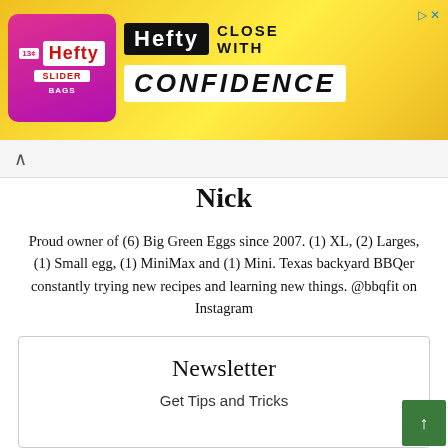[Figure (advertisement): Hefty Slider Bags advertisement banner with pink/purple and yellow background. Shows Hefty logo, 'CLOSE WITH CONFIDENCE' text.]
Nick
Proud owner of (6) Big Green Eggs since 2007. (1) XL, (2) Larges, (1) Small egg, (1) MiniMax and (1) Mini. Texas backyard BBQer constantly trying new recipes and learning new things. @bbqfit on Instagram
Contact Me
Newsletter
Get Tips and Tricks